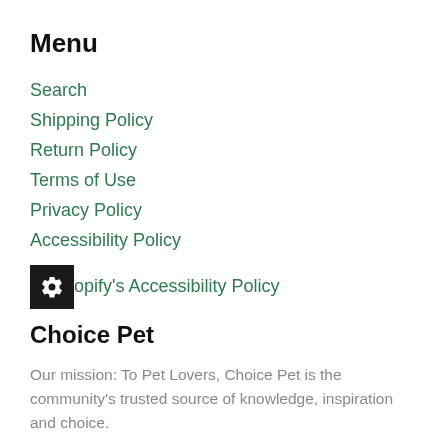Menu
Search
Shipping Policy
Return Policy
Terms of Use
Privacy Policy
Accessibility Policy
Shopify's Accessibility Policy
Choice Pet
Our mission: To Pet Lovers, Choice Pet is the community's trusted source of knowledge, inspiration and choice.
Come in and meet your neighborhood Choice Pet Team and you'll find kindred spirits who are expert and dedicated to helping you make the most informed and thoughtful choices for the pets who bring us so much joy!